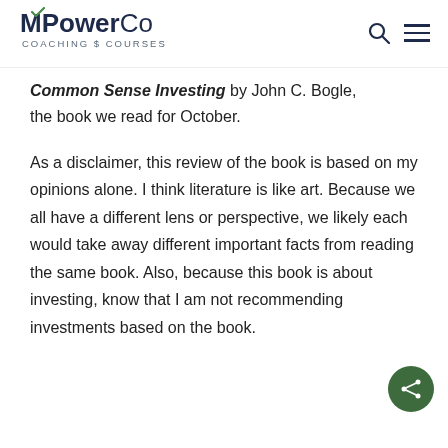MPower Co — Coaching & Courses
Common Sense Investing by John C. Bogle, the book we read for October.
As a disclaimer, this review of the book is based on my opinions alone. I think literature is like art. Because we all have a different lens or perspective, we likely each would take away different important facts from reading the same book. Also, because this book is about investing, know that I am not recommending investments based on the book.